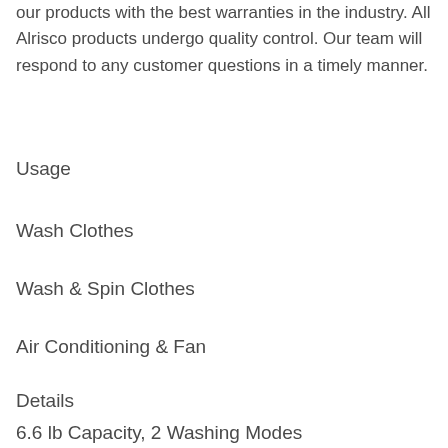our products with the best warranties in the industry. All Alrisco products undergo quality control. Our team will respond to any customer questions in a timely manner.
Usage
Wash Clothes
Wash & Spin Clothes
Air Conditioning & Fan
Details
6.6 lb Capacity, 2 Washing Modes